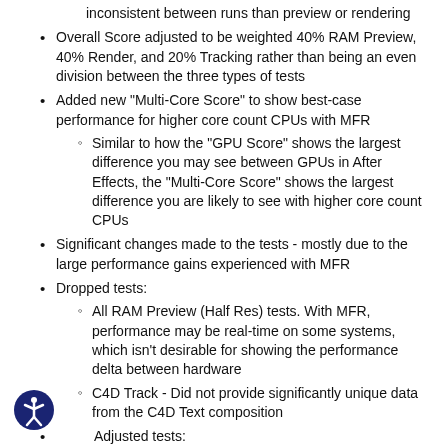Adding loops between tracking can be more inconsistent between runs than preview or rendering
Overall Score adjusted to be weighted 40% RAM Preview, 40% Render, and 20% Tracking rather than being an even division between the three types of tests
Added new "Multi-Core Score" to show best-case performance for higher core count CPUs with MFR
Similar to how the "GPU Score" shows the largest difference you may see between GPUs in After Effects, the "Multi-Core Score" shows the largest difference you are likely to see with higher core count CPUs
Significant changes made to the tests - mostly due to the large performance gains experienced with MFR
Dropped tests:
All RAM Preview (Half Res) tests. With MFR, performance may be real-time on some systems, which isn't desirable for showing the performance delta between hardware
C4D Track - Did not provide significantly unique data from the C4D Text composition
Adjusted tests:
Polygon - Increased difficulty by creating 3 sets of polygon pre-comps